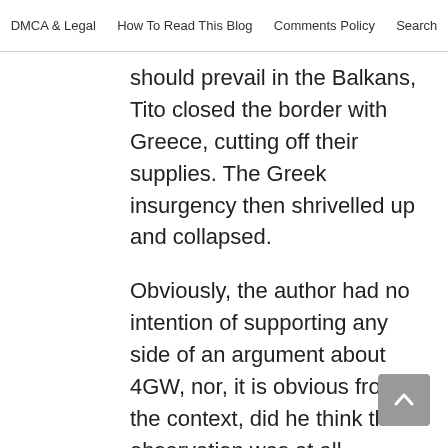DMCA & Legal   How To Read This Blog   Comments Policy   Search
should prevail in the Balkans, Tito closed the border with Greece, cutting off their supplies. The Greek insurgency then shrivelled up and collapsed.
Obviously, the author had no intention of supporting any side of an argument about 4GW, nor, it is obvious from the context, did he think this observation was at all controversial. It is just clear to him that the Greek insurgency was part of a larger conflict, and the Greek communists rebels were an appendage, not a whole entity in and of themselves.
One of the falsehoods, or myths, to be